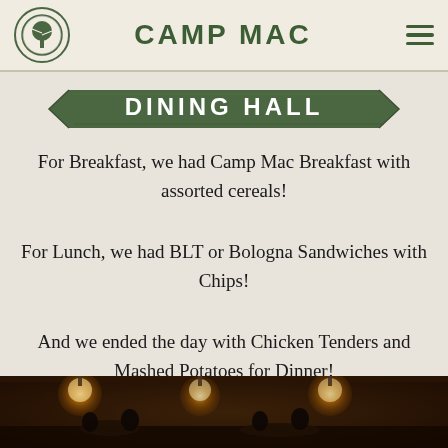CAMP MAC
DINING HALL
For Breakfast, we had Camp Mac Breakfast with assorted cereals!
For Lunch, we had BLT or Bologna Sandwiches with Chips!
And we ended the day with Chicken Tenders and Mashed Potatoes for Dinner!
[Figure (photo): Interior photo of dining hall with warm pendant lights hanging from the ceiling]